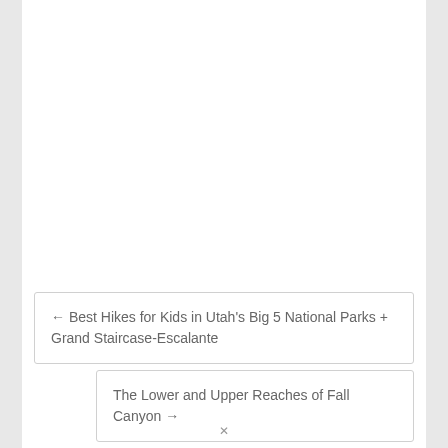← Best Hikes for Kids in Utah's Big 5 National Parks + Grand Staircase-Escalante
The Lower and Upper Reaches of Fall Canyon →